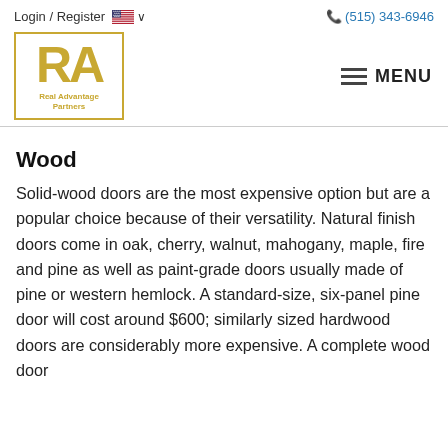Login / Register  🇺🇸 ∨    ☎ (515) 343-6946
[Figure (logo): Real Advantage Partners logo — gold RA letters inside a gold-bordered rectangle, with 'Real Advantage Partners' text below]
≡ MENU
Wood
Solid-wood doors are the most expensive option but are a popular choice because of their versatility. Natural finish doors come in oak, cherry, walnut, mahogany, maple, fire and pine as well as paint-grade doors usually made of pine or western hemlock. A standard-size, six-panel pine door will cost around $600; similarly sized hardwood doors are considerably more expensive. A complete wood door